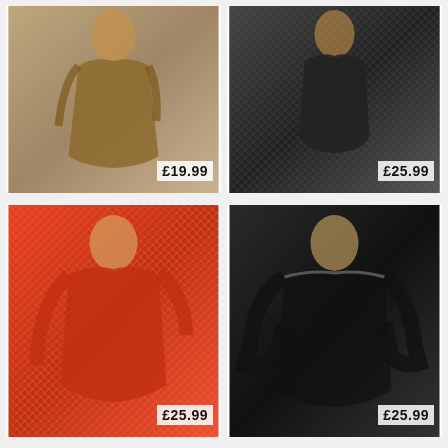[Figure (photo): Model wearing a brown/gold glitter mesh mini dress. Product price shown as £19.99.]
£19.99
[Figure (photo): Model wearing a black fishnet/mesh top and thong set. Product price shown as £25.99.]
£25.99
[Figure (photo): Model wearing an orange/red fishnet bodycon catsuit with long sleeves. Product price shown as £25.99.]
£25.99
[Figure (photo): Model wearing a black sheer mesh off-shoulder mini dress with flared sleeves and lace trim. Product price shown as £25.99.]
£25.99